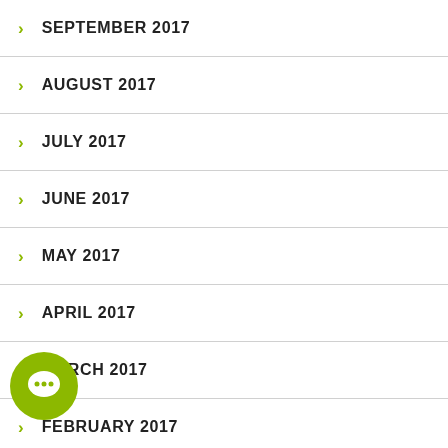SEPTEMBER 2017
AUGUST 2017
JULY 2017
JUNE 2017
MAY 2017
APRIL 2017
MARCH 2017
FEBRUARY 2017
JANUARY 2017
DECEMBER 2016
[Figure (illustration): Green circular chat/comment bubble icon in bottom left corner]